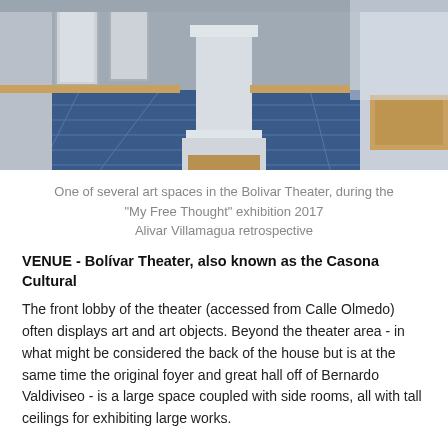[Figure (photo): Interior hallway of the Bolivar Theater showing blue tiled floor, white classical columns and pilasters, and white doors along the walls, taken during the 'My Free Thought' exhibition 2017.]
One of several art spaces in the Bolivar Theater, during the "My Free Thought" exhibition 2017
Alivar Villamagua retrospective
VENUE - Bolívar Theater, also known as the Casona Cultural
The front lobby of the theater (accessed from Calle Olmedo) often displays art and art objects. Beyond the theater area - in what might be considered the back of the house but is at the same time the original foyer and great hall off of Bernardo Valdiviseo - is a large space coupled with side rooms, all with tall ceilings for exhibiting large works.